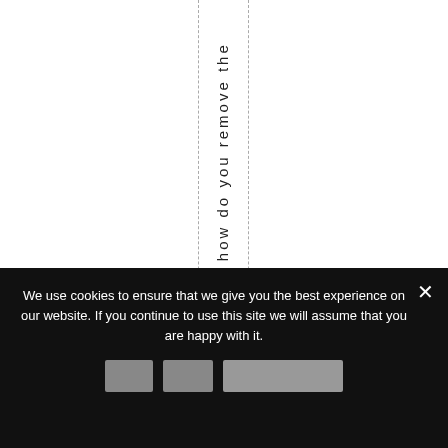if so, how do you remove the
We use cookies to ensure that we give you the best experience on our website. If you continue to use this site we will assume that you are happy with it.